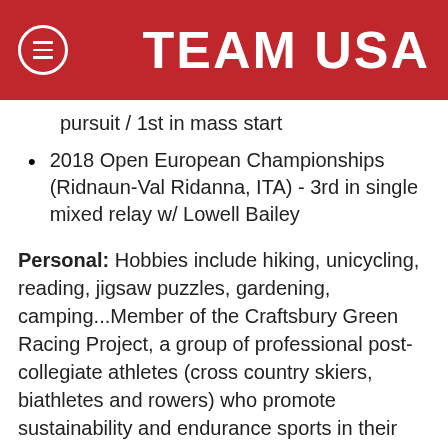TEAM USA
pursuit / 1st in mass start
2018 Open European Championships (Ridnaun-Val Ridanna, ITA) - 3rd in single mixed relay w/ Lowell Bailey
Personal: Hobbies include hiking, unicycling, reading, jigsaw puzzles, gardening, camping...Member of the Craftsbury Green Racing Project, a group of professional post-collegiate athletes (cross country skiers, biathletes and rowers) who promote sustainability and endurance sports in their local community